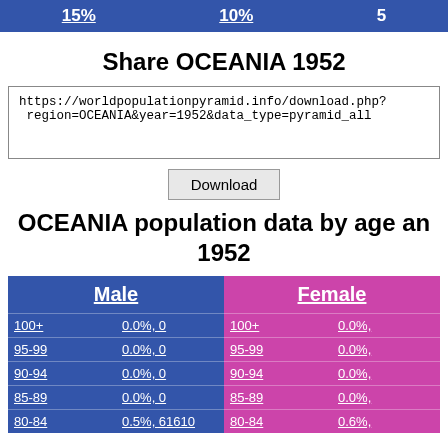15%   10%   5%
Share OCEANIA 1952
https://worldpopulationpyramid.info/download.php?region=OCEANIA&year=1952&data_type=pyramid_all
Download
OCEANIA population data by age and sex 1952
| Male |  | Female |  |
| --- | --- | --- | --- |
| 100+ | 0.0%, 0 | 100+ | 0.0%, 0 |
| 95-99 | 0.0%, 0 | 95-99 | 0.0%, 0 |
| 90-94 | 0.0%, 0 | 90-94 | 0.0%, 0 |
| 85-89 | 0.0%, 0 | 85-89 | 0.0%, 0 |
| 80-84 | 0.5%, 61610 | 80-84 | 0.6%, ... |